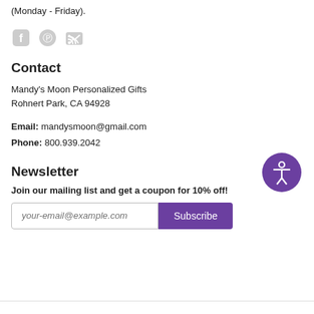(Monday - Friday).
[Figure (illustration): Social media icons: Facebook, Pinterest, RSS feed]
Contact
Mandy's Moon Personalized Gifts
Rohnert Park, CA 94928
Email: mandysmoon@gmail.com
Phone: 800.939.2042
[Figure (illustration): Accessibility icon button - purple circle with person figure]
Newsletter
Join our mailing list and get a coupon for 10% off!
your-email@example.com [input field] Subscribe [button]